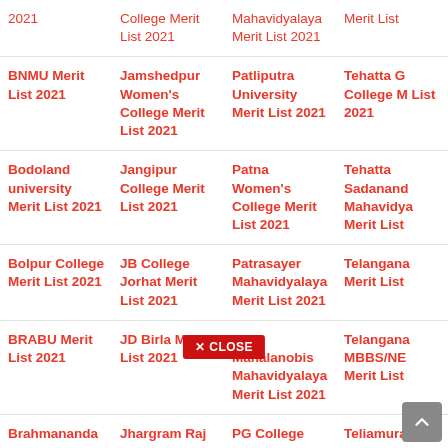2021
College Merit List 2021
Mahavidyalaya Merit List 2021
Merit List
BNMU Merit List 2021
Jamshedpur Women's College Merit List 2021
Patliputra University Merit List 2021
Tehatta G College M List 2021
Bodoland university Merit List 2021
Jangipur College Merit List 2021
Patna Women's College Merit List 2021
Tehatta Sadanand Mahavidya Merit List
Bolpur College Merit List 2021
JB College Jorhat Merit List 2021
Patrasayer Mahavidyalaya Merit List 2021
Telangana Merit List
BRABU Merit List 2021
JD Birla Merit List 2021
PC Mahalanobis Mahavidyalaya Merit List 2021
Telangana MBBS/NE Merit List
Brahmananda
Jhargram Raj
PG College
Teliamura